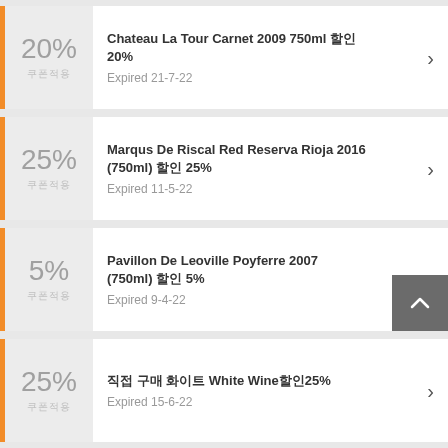20% 쿠폰적용 — Chateau La Tour Carnet 2009 750ml 할인 20% — Expired 21-7-22
25% 쿠폰적용 — Marqus De Riscal Red Reserva Rioja 2016 (750ml) 할인 25% — Expired 11-5-22
5% 쿠폰적용 — Pavillon De Leoville Poyferre 2007 (750ml) 할인 5% — Expired 9-4-22
25% 쿠폰적용 — 직접 구매 화이트 White Wine할인25% — Expired 15-6-22